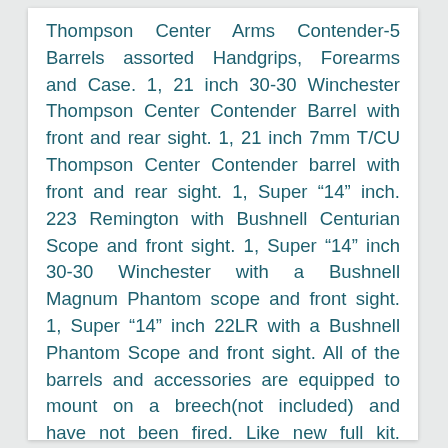Thompson Center Arms Contender-5 Barrels assorted Handgrips, Forearms and Case. 1, 21 inch 30-30 Winchester Thompson Center Contender Barrel with front and rear sight. 1, 21 inch 7mm T/CU Thompson Center Contender barrel with front and rear sight. 1, Super —14” inch. 223 Remington with Bushnell Centurian Scope and front sight. 1, Super —14” inch 30-30 Winchester with a Bushnell Magnum Phantom scope and front sight. 1, Super —14” inch 22LR with a Bushnell Phantom Scope and front sight. All of the barrels and accessories are equipped to mount on a breech(not included) and have not been fired. Like new full kit. Pachmyr Black Pistol Grip and Forearm with sling mounts. Crate Tool Corporation Folding Black Stock and Forearm with sling mounts. Thompson Center Arms